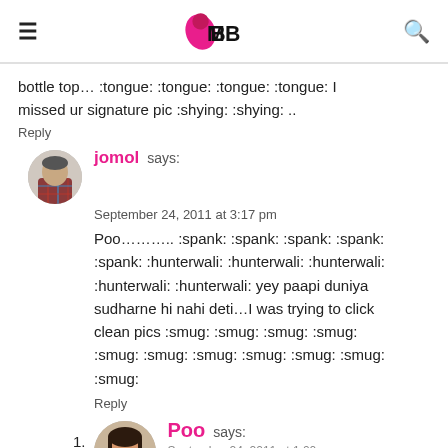IMBB (logo)
bottle top… :tongue: :tongue: :tongue: :tongue: I missed ur signature pic :shying: :shying: ..
Reply
jomol says:
September 24, 2011 at 3:17 pm
Poo……….. :spank: :spank: :spank: :spank: :spank: :hunterwali: :hunterwali: :hunterwali: :hunterwali: :hunterwali: yey paapi duniya sudharne hi nahi deti…I was trying to click clean pics :smug: :smug: :smug: :smug: :smug: :smug: :smug: :smug: :smug: :smug: :smug:
Reply
Poo says:
September 24, 2011 at 1:00